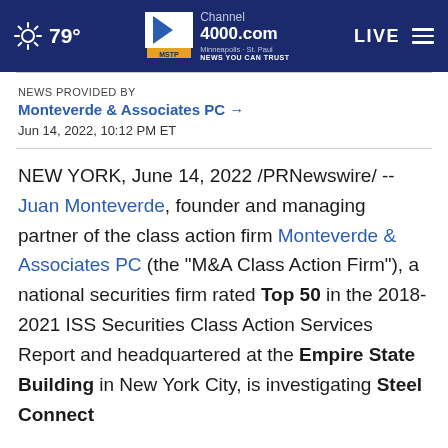79° Channel 4000.com Minneapolis · St. Paul NEWS YOU CAN TRUST LIVE
NEWS PROVIDED BY
Monteverde & Associates PC →
Jun 14, 2022, 10:12 PM ET
NEW YORK, June 14, 2022 /PRNewswire/ -- Juan Monteverde, founder and managing partner of the class action firm Monteverde & Associates PC (the "M&A Class Action Firm"), a national securities firm rated Top 50 in the 2018-2021 ISS Securities Class Action Services Report and headquartered at the Empire State Building in New York City, is investigating Steel Connect...